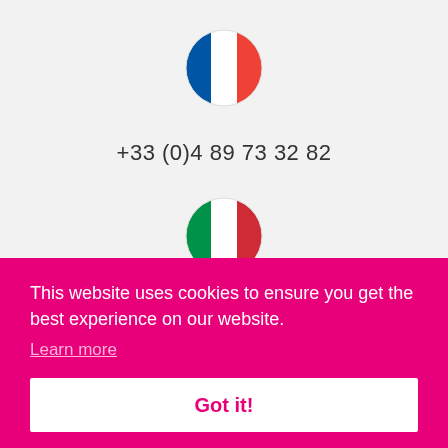[Figure (illustration): French flag icon — circular badge with blue, white, and red vertical stripes]
+33 (0)4 89 73 32 82
[Figure (illustration): Italian flag icon — circular badge with green, white, and red vertical stripes]
This website uses cookies to ensure you get the best experience on our website.
Learn more
Got it!